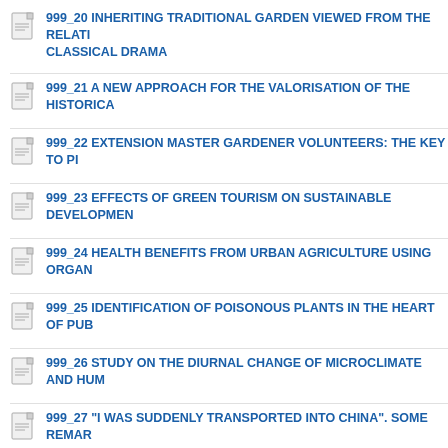999_20 INHERITING TRADITIONAL GARDEN VIEWED FROM THE RELATION OF CLASSICAL DRAMA
999_21 A NEW APPROACH FOR THE VALORISATION OF THE HISTORICA
999_22 EXTENSION MASTER GARDENER VOLUNTEERS: THE KEY TO PI
999_23 EFFECTS OF GREEN TOURISM ON SUSTAINABLE DEVELOPMEN
999_24 HEALTH BENEFITS FROM URBAN AGRICULTURE USING ORGAN
999_25 IDENTIFICATION OF POISONOUS PLANTS IN THE HEART OF PUB
999_26 STUDY ON THE DIURNAL CHANGE OF MICROCLIMATE AND HUM
999_27 "I WAS SUDDENLY TRANSPORTED INTO CHINA". SOME REMAR
999_28 POETIC AND PICTURESQUE IMAGINATION IN THE ART OF THE C
999_29 THE SIGNIFICANCE PERCEPTION OF LANDSCAPE UNDER SEMI
999_30 EVOLUTION OF A PESTICIDE SAFETY WEBSITE - COOPERATIVE